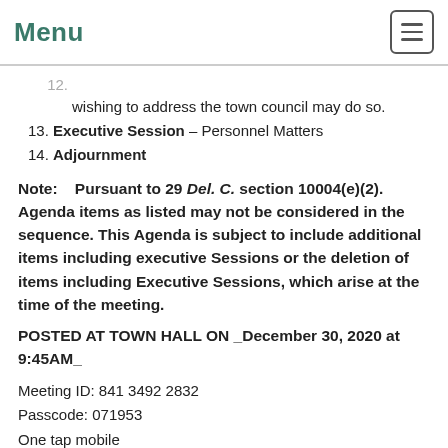Menu
12. [Recognition of Visitors – At this time, anyone] wishing to address the town council may do so.
13. Executive Session – Personnel Matters
14. Adjournment
Note:    Pursuant to 29 Del. C. section 10004(e)(2). Agenda items as listed may not be considered in the sequence. This Agenda is subject to include additional items including executive Sessions or the deletion of items including Executive Sessions, which arise at the time of the meeting.
POSTED AT TOWN HALL ON _December 30, 2020 at 9:45AM_
Meeting ID: 841 3492 2832
Passcode: 071953
One tap mobile
+19292056099,,84134922832#,,,,0#,,071953# US